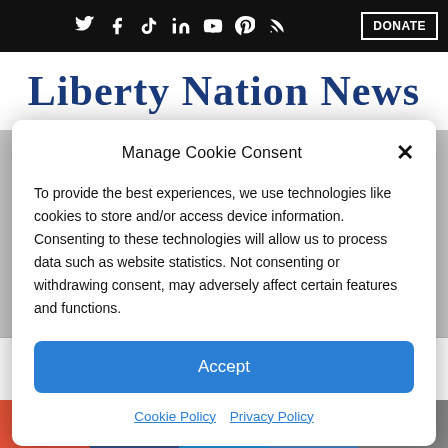Liberty Nation News - top navigation bar with social icons and DONATE button
Liberty Nation News
Manage Cookie Consent
To provide the best experiences, we use technologies like cookies to store and/or access device information. Consenting to these technologies will allow us to process data such as website statistics. Not consenting or withdrawing consent, may adversely affect certain features and functions.
Accept
Cookie Policy  Privacy Policy
trap.
By: Joe Schaeffer | September 22, 2018 - 11:00 am |
Share bar: + Facebook Twitter Share Mail